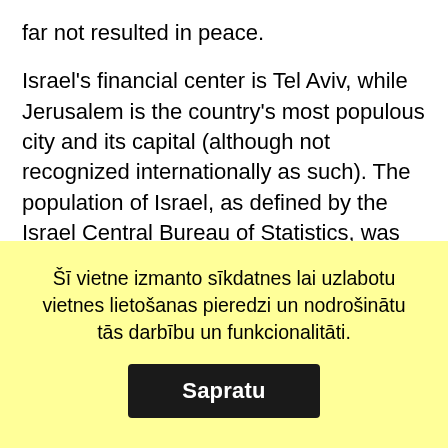far not resulted in peace.
Israel's financial center is Tel Aviv, while Jerusalem is the country's most populous city and its capital (although not recognized internationally as such). The population of Israel, as defined by the Israel Central Bureau of Statistics, was estimated in 2013 to be 8,002,300 people, of whom 6,030,100 are Jewish. Arabs form the country's second-largest ethnic group with 1,653,900 people (including Druze and Bedouins). The great majority of Israeli Arabs are settled-Muslims, with smaller but significant numbers of semi-settled Negev Bedouins and Christians. Other minorities include various ethnic and ethno-religious denominations such as Druze.
Maronites, Samaritans, Black Hebrew Israelites, Armenians, Circassians and others.
Israel is a representative democracy with a parliamentary system, proportional representation and universal suffrage. The Prime Minister serves as head of Government and the Knesset as the legislature.
Šī vietne izmanto sīkdatnes lai uzlabotu vietnes lietošanas pieredzi un nodrošinātu tās darbību un funkcionalitāti.
Sapratu